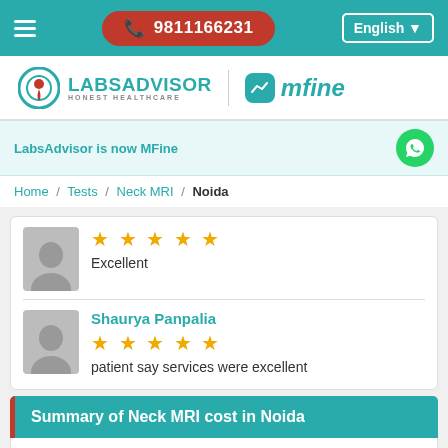☎ 9811166231 | English
[Figure (logo): LabsAdvisor Honest Healthcare logo and mfine logo]
LabsAdvisor is now MFine
Home / Tests / Neck MRI / Noida
★★★★★ Excellent
Shaurya Panpalia — ★★★★★ — patient say services were excellent
Summary of Neck MRI cost in Noida
Minimum Neck MRI cost in Noida available through